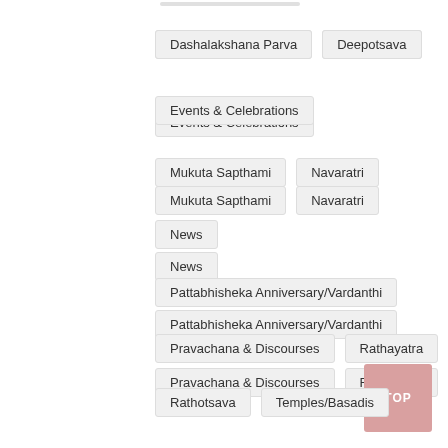Dashalakshana Parva
Deepotsava
Events & Celebrations
Mukuta Sapthami
Navaratri
News
Pattabhisheka Anniversary/Vardanthi
Pravachana & Discourses
Rathayatra
Rathotsava
Temples/Basadis
Ugadi